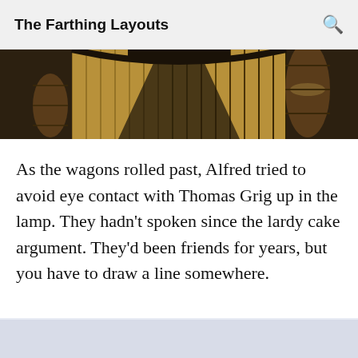The Farthing Layouts
[Figure (photo): Partial view of a wooden wagon or cart interior with wooden slat flooring and barrels, dark and rustic setting]
As the wagons rolled past, Alfred tried to avoid eye contact with Thomas Grig up in the lamp. They hadn’t spoken since the lardy cake argument. They’d been friends for years, but you have to draw a line somewhere.
[Figure (photo): Bottom partial photo with light blue/lavender sky tone, partially visible at page bottom]